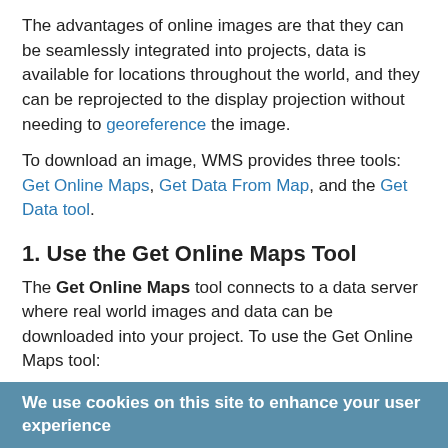The advantages of online images are that they can be seamlessly integrated into projects, data is available for locations throughout the world, and they can be reprojected to the display projection without needing to georeference the image.
To download an image, WMS provides three tools: Get Online Maps, Get Data From Map, and the Get Data tool.
1. Use the Get Online Maps Tool
The Get Online Maps tool connects to a data server where real world images and data can be downloaded into your project. To use the Get Online Maps tool:
[Figure (screenshot): Screenshot of the Virtual Earth Map Locator dialog showing map location fields with latitude/longitude coordinates, Jump to Location button, Search section with Place to search for field showing Salt Lake Co., Utah, Jump to Search Location button, and a satellite map view with Map/Satellite tabs.]
We use cookies on this site to enhance your user experience